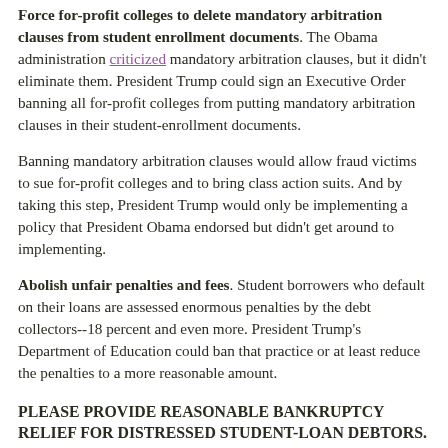Force for-profit colleges to delete mandatory arbitration clauses from student enrollment documents. The Obama administration criticized mandatory arbitration clauses, but it didn't eliminate them. President Trump could sign an Executive Order banning all for-profit colleges from putting mandatory arbitration clauses in their student-enrollment documents.
Banning mandatory arbitration clauses would allow fraud victims to sue for-profit colleges and to bring class action suits. And by taking this step, President Trump would only be implementing a policy that President Obama endorsed but didn't get around to implementing.
Abolish unfair penalties and fees. Student borrowers who default on their loans are assessed enormous penalties by the debt collectors--18 percent and even more. President Trump's Department of Education could ban that practice or at least reduce the penalties to a more reasonable amount.
PLEASE PROVIDE REASONABLE BANKRUPTCY RELIEF FOR DISTRESSED STUDENT-LOAN DEBTORS.